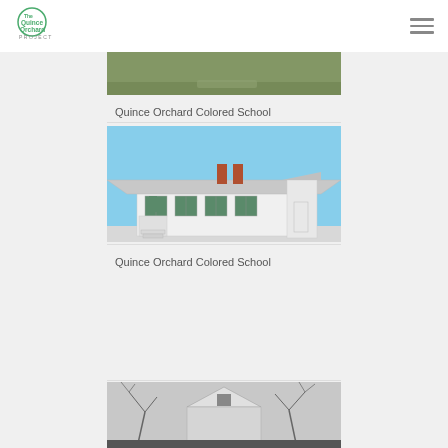The Quince Orchard Project
[Figure (photo): Partial view of a grassy field/path, cropped at top of visible area]
Quince Orchard Colored School
[Figure (illustration): 3D architectural rendering of a white single-story schoolhouse with two red chimneys, green-shuttered windows, a front porch, and a gray roof against a blue sky]
Quince Orchard Colored School
[Figure (photo): Black and white historical photograph showing roof and upper structure of a building with bare winter trees in background, partially cropped]